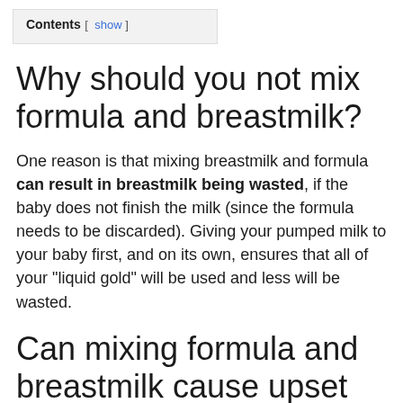Contents [ show ]
Why should you not mix formula and breastmilk?
One reason is that mixing breastmilk and formula can result in breastmilk being wasted, if the baby does not finish the milk (since the formula needs to be discarded). Giving your pumped milk to your baby first, and on its own, ensures that all of your “liquid gold” will be used and less will be wasted.
Can mixing formula and breastmilk cause upset